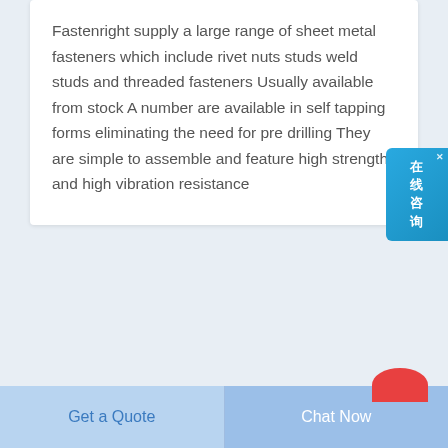Fastenright supply a large range of sheet metal fasteners which include rivet nuts studs weld studs and threaded fasteners Usually available from stock A number are available in self tapping forms eliminating the need for pre drilling They are simple to assemble and feature high strength and high vibration resistance
[Figure (other): Chinese online customer service chat widget button on the right side, with text 在线咨询 (online consultation) and a close X button]
[Figure (other): Partial red circle visible at bottom right, likely a floating action button]
Get a Quote
Chat Now